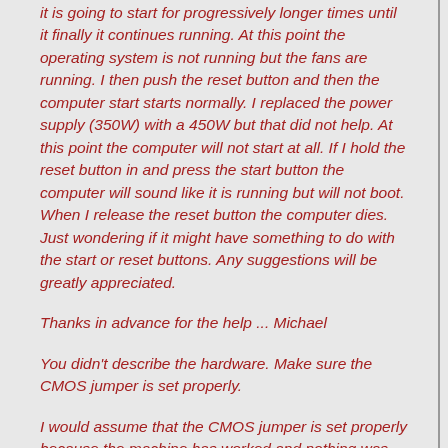it is going to start for progressively longer times until it finally it continues running. At this point the operating system is not running but the fans are running. I then push the reset button and then the computer start starts normally. I replaced the power supply (350W) with a 450W but that did not help. At this point the computer will not start at all. If I hold the reset button in and press the start button the computer will sound like it is running but will not boot. When I release the reset button the computer dies. Just wondering if it might have something to do with the start or reset buttons. Any suggestions will be greatly appreciated.
Thanks in advance for the help ... Michael
You didn't describe the hardware. Make sure the CMOS jumper is set properly.
I would assume that the CMOS jumper is set properly because the machine has worked and nothing was changed.
I misunderstood. I was watching Tony Bourdain and making posts during the commercials. In future I must do one or the other but not both.